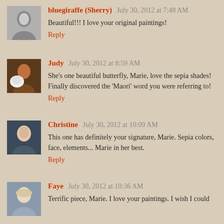[Figure (photo): Avatar photo of bluegiraffe (Sherry) — black and white portrait]
bluegiraffe (Sherry) July 30, 2012 at 7:48 AM
Beautiful!!! I love your original paintings!
Reply
[Figure (photo): Avatar photo of Judy — woman with white dog]
Judy July 30, 2012 at 8:59 AM
She's one beautiful butterfly, Marie, love the sepia shades! Finally discovered the 'Maori' word you were referring to!
Reply
[Figure (photo): Avatar photo of Christine — woman smiling]
Christine July 30, 2012 at 10:09 AM
This one has definitely your signature, Marie. Sepia colors, face, elements... Marie in her best.
Reply
[Figure (photo): Avatar photo of Faye — woman with light hair]
Faye July 30, 2012 at 10:36 AM
Terrific piece, Marie. I love your paintings. I wish I could